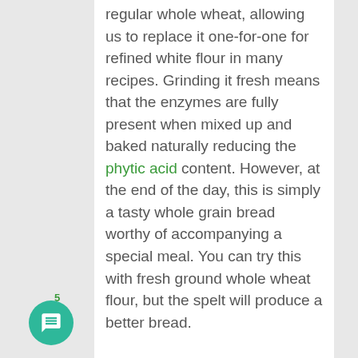regular whole wheat, allowing us to replace it one-for-one for refined white flour in many recipes. Grinding it fresh means that the enzymes are fully present when mixed up and baked naturally reducing the phytic acid content. However, at the end of the day, this is simply a tasty whole grain bread worthy of accompanying a special meal. You can try this with fresh ground whole wheat flour, but the spelt will produce a better bread.
Zucchini Corn Bread Ingredients